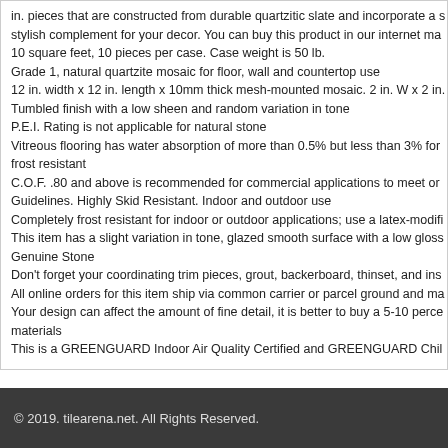in. pieces that are constructed from durable quartzitic slate and incorporate a s stylish complement for your decor. You can buy this product in our internet ma
10 square feet, 10 pieces per case. Case weight is 50 lb.
Grade 1, natural quartzite mosaic for floor, wall and countertop use
12 in. width x 12 in. length x 10mm thick mesh-mounted mosaic. 2 in. W x 2 in.
Tumbled finish with a low sheen and random variation in tone
P.E.I. Rating is not applicable for natural stone
Vitreous flooring has water absorption of more than 0.5% but less than 3% for frost resistant
C.O.F. .80 and above is recommended for commercial applications to meet or Guidelines. Highly Skid Resistant. Indoor and outdoor use
Completely frost resistant for indoor or outdoor applications; use a latex-modifi
This item has a slight variation in tone, glazed smooth surface with a low gloss Genuine Stone
Don't forget your coordinating trim pieces, grout, backerboard, thinset, and ins
All online orders for this item ship via common carrier or parcel ground and ma
Your design can affect the amount of fine detail, it is better to buy a 5-10 perce materials
This is a GREENGUARD Indoor Air Quality Certified and GREENGUARD Chil
© 2019. tilearena.net. All Rights Reserved.